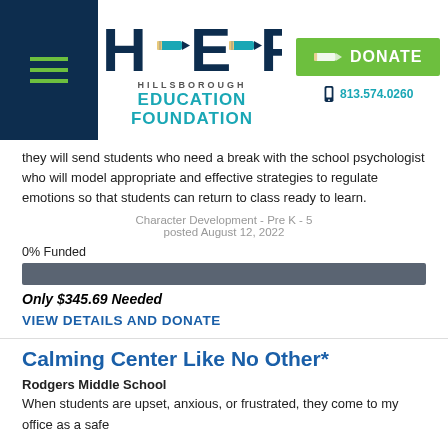[Figure (logo): Hillsborough Education Foundation logo with HEF letters, pencil graphic, DONATE button, and phone number 813.574.0260]
they will send students who need a break with the school psychologist who will model appropriate and effective strategies to regulate emotions so that students can return to class ready to learn.
Character Development - Pre K - 5
posted August 12, 2022
0% Funded
[Figure (infographic): Empty dark gray progress bar showing 0% funded]
Only $345.69 Needed
VIEW DETAILS AND DONATE
Calming Center Like No Other*
Rodgers Middle School
When students are upset, anxious, or frustrated, they come to my office as a safe